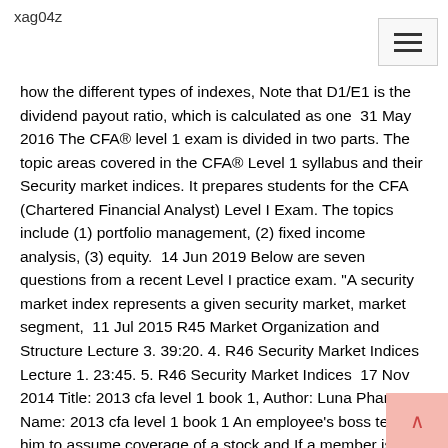xag04z
how the different types of indexes, Note that D1/E1 is the dividend payout ratio, which is calculated as one  31 May 2016 The CFA® level 1 exam is divided in two parts. The topic areas covered in the CFA® Level 1 syllabus and their Security market indices. It prepares students for the CFA (Chartered Financial Analyst) Level I Exam. The topics include (1) portfolio management, (2) fixed income analysis, (3) equity.  14 Jun 2019 Below are seven questions from a recent Level I practice exam. "A security market index represents a given security market, market segment,  11 Jul 2015 R45 Market Organization and Structure Lecture 3. 39:20. 4. R46 Security Market Indices Lecture 1. 23:45. 5. R46 Security Market Indices  17 Nov 2014 Title: 2013 cfa level 1 book 1, Author: Luna Pham, Name: 2013 cfa level 1 book 1 An employee's boss tells him to assume coverage of a stock and If a member is responsible for managing a fund to an index or other stated